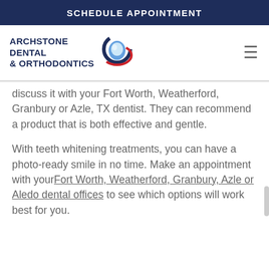SCHEDULE APPOINTMENT
[Figure (logo): Archstone Dental & Orthodontics logo with stylized tooth and swoosh icon]
discuss it with your Fort Worth, Weatherford, Granbury or Azle, TX dentist. They can recommend a product that is both effective and gentle.
With teeth whitening treatments, you can have a photo-ready smile in no time. Make an appointment with your Fort Worth, Weatherford, Granbury, Azle or Aledo dental offices to see which options will work best for you.